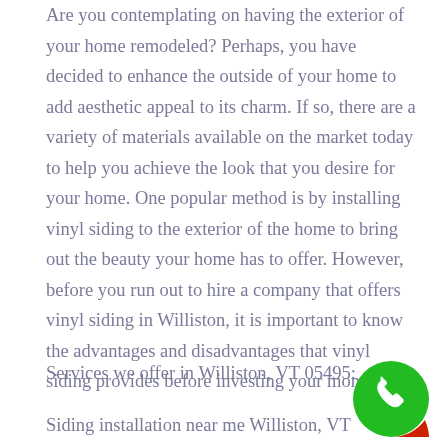Are you contemplating on having the exterior of your home remodeled? Perhaps, you have decided to enhance the outside of your home to add aesthetic appeal to its charm. If so, there are a variety of materials available on the market today to help you achieve the look that you desire for your home. One popular method is by installing vinyl siding to the exterior of the home to bring out the beauty your home has to offer. However, before you run out to hire a company that offers vinyl siding in Williston, it is important to know the advantages and disadvantages that vinyl siding provides before investing your money.
Services we offer in Williston, VT 05495:
Siding installation near me Williston, VT
[Figure (illustration): Green circular phone/call button icon with a white phone handset symbol and a small red accent at the bottom right]